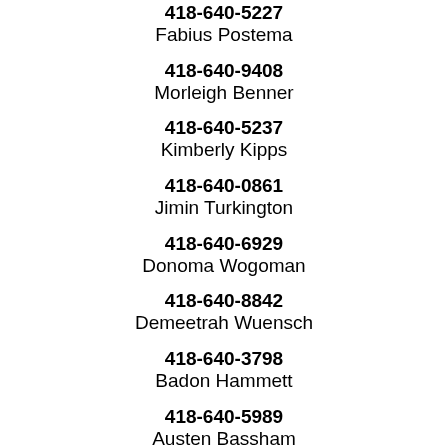418-640-5227
Fabius Postema
418-640-9408
Morleigh Benner
418-640-5237
Kimberly Kipps
418-640-0861
Jimin Turkington
418-640-6929
Donoma Wogoman
418-640-8842
Demeetrah Wuensch
418-640-3798
Badon Hammett
418-640-5989
Austen Bassham
418-640-4940
Vietta Kovner